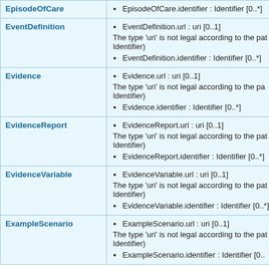| Resource | Fields |
| --- | --- |
| EpisodeOfCare | EpisodeOfCare.identifier : Identifier [0..*] |
| EventDefinition | EventDefinition.url : uri [0..1]
The type 'uri' is not legal according to the pat Identifier)
EventDefinition.identifier : Identifier [0..*] |
| Evidence | Evidence.url : uri [0..1]
The type 'uri' is not legal according to the pa Identifier)
Evidence.identifier : Identifier [0..*] |
| EvidenceReport | EvidenceReport.url : uri [0..1]
The type 'uri' is not legal according to the pat Identifier)
EvidenceReport.identifier : Identifier [0..*] |
| EvidenceVariable | EvidenceVariable.url : uri [0..1]
The type 'uri' is not legal according to the pat Identifier)
EvidenceVariable.identifier : Identifier [0..*] |
| ExampleScenario | ExampleScenario.url : uri [0..1]
The type 'uri' is not legal according to the pat Identifier)
ExampleScenario.identifier : Identifier [0.. |